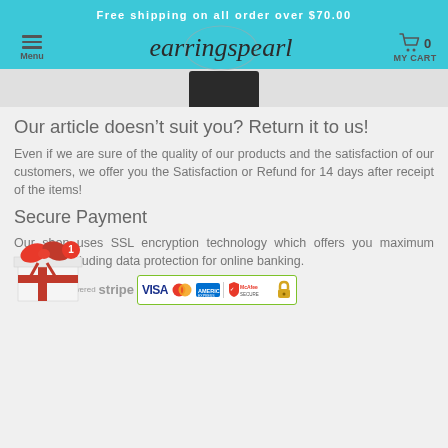Free shipping on all order over $70.00
earringspearl  Menu  MY CART 0
[Figure (photo): Partial product image showing base of item against gray background]
Our article doesn’t suit you? Return it to us!
Even if we are sure of the quality of our products and the satisfaction of our customers, we offer you the Satisfaction or Refund for 14 days after receipt of the items!
Secure Payment
Our shop uses SSL encryption technology which offers you maximum security, including data protection for online banking.
[Figure (logo): Payment logos: Powered by Stripe, VISA, MasterCard, American Express, McAfee Secure, padlock icon]